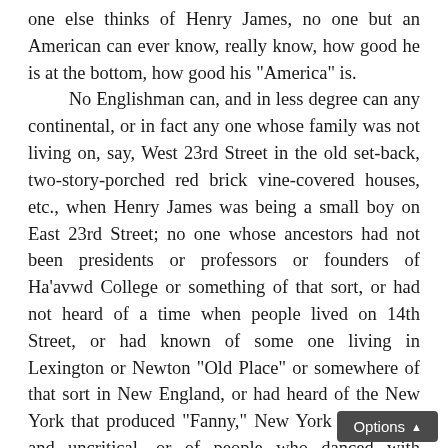one else thinks of Henry James, no one but an American can ever know, really know, how good he is at the bottom, how good his "America" is.

No Englishman can, and in less degree can any continental, or in fact any one whose family was not living on, say, West 23rd Street in the old set-back, two-story-porched red brick vine-covered houses, etc., when Henry James was being a small boy on East 23rd Street; no one whose ancestors had not been presidents or professors or founders of Ha'avwd College or something of that sort, or had not heard of a time when people lived on 14th Street, or had known of some one living in Lexington or Newton "Old Place" or somewhere of that sort in New England, or had heard of the New York that produced "Fanny," New York the jocular and uncritical, or of people who danced with General Grant or something of that sort, would quite know Washington Square or The Europeans to be so autochthonous, so authentic to the conditions. They might